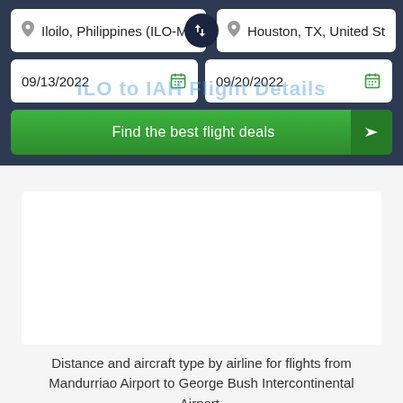Iloilo, Philippines (ILO-Ma
Houston, TX, United St
09/13/2022
09/20/2022
ILO to IAH Flight Details
Find the best flight deals
[Figure (other): Empty white chart/map area placeholder]
Distance and aircraft type by airline for flights from Mandurriao Airport to George Bush Intercontinental Airport.